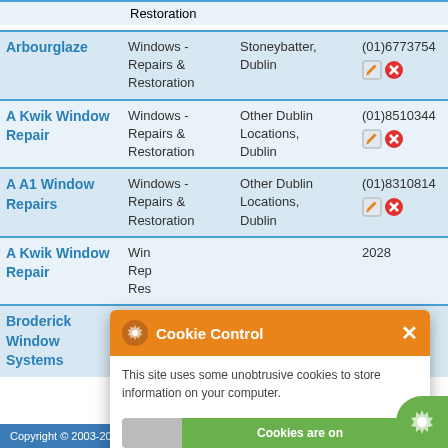| Company | Category | Location | Phone/Actions |
| --- | --- | --- | --- |
|  | Restoration |  |  |
| Arbourglaze | Windows - Repairs & Restoration | Stoneybatter, Dublin | (01)6773754 |
| A Kwik Window Repair | Windows - Repairs & Restoration | Other Dublin Locations, Dublin | (01)8510344 |
| A A1 Window Repairs | Windows - Repairs & Restoration | Other Dublin Locations, Dublin | (01)8310814 |
| A Kwik Window Repair | Win... Rep... Res... |  | ...2028 |
| Broderick Window Systems | Win... Rep... Res... |  | ...2999 |
[Figure (screenshot): Cookie Control popup overlay with orange header showing gear icon and 'Cookie Control' text with close X button. Body text reads 'This site uses some unobtrusive cookies to store information on your computer.' Toggle showing 'Cookies are on' in green. 'about this tool' link in orange. 'read more' green button.]
Copyright © 2003-2022 localbusinesspages... reserved.